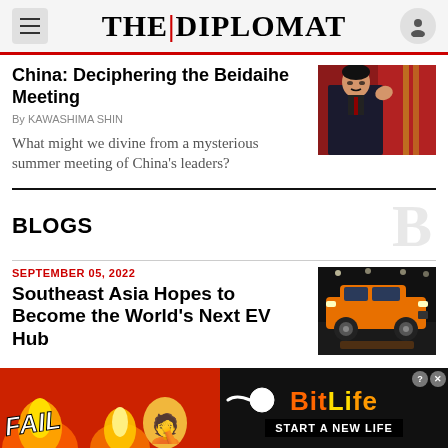THE DIPLOMAT
China: Deciphering the Beidaihe Meeting
By KAWASHIMA SHIN
What might we divine from a mysterious summer meeting of China’s leaders?
[Figure (photo): Photo of a man in a suit waving, with a red flag in the background]
BLOGS
SEPTEMBER 05, 2022
Southeast Asia Hopes to Become the World’s Next EV Hub
[Figure (photo): Photo of an orange SUV/car at what appears to be an auto show]
[Figure (other): Advertisement banner for BitLife game with FAIL text, flames, emoji, and START A NEW LIFE tagline]